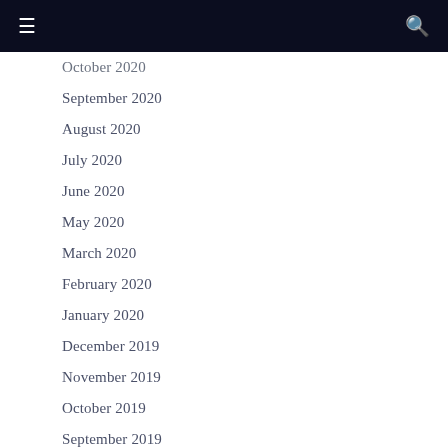≡  🔍
October 2020
September 2020
August 2020
July 2020
June 2020
May 2020
March 2020
February 2020
January 2020
December 2019
November 2019
October 2019
September 2019
August 2019
July 2019
June 2019